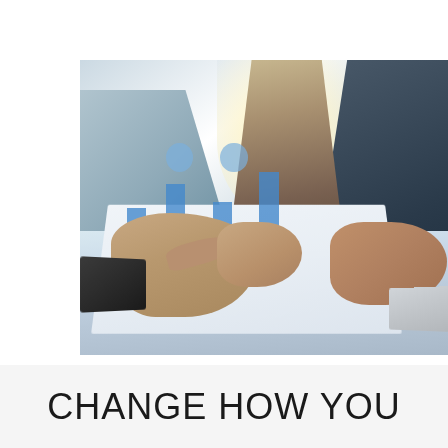[Figure (photo): Two people leaning over a desk covered with financial documents showing bar charts and data. One person in light blue shirt points at the papers with a pen; another in dark navy jacket leans with hand on the table. Bright window light in background. A tablet and laptop also visible on the desk.]
CHANGE HOW YOU